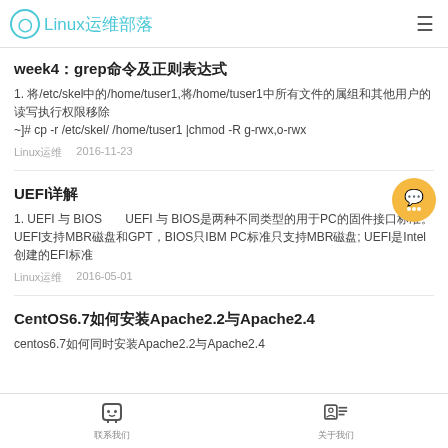Linux运维部落
week4：grep命令及正则表达式
1. 将/etc/skel中的/home/tuser1,将/home/tuser1中所有文件的属组和其他用户的读写执行权限移除
~]# cp -r /etc/skel/ /home/tuser1 |chmod -R g-rwx,o-rwx
Linux运维   2016-11-23
UEFI详解
1. UEFI 与 BIOS         UEFI 与 BIOS是两种不同类型的用于PC的固件接口标准。
UEFI支持MBR磁盘和GPT，BIOS只IBM PC标准只支持MBR磁盘; UEFI是Intel创建的EFI标准
Linux运维   2016-05-01
CentOS6.7如何安装Apache2.2与Apache2.4
centos6.7如何同时安装Apache2.2与Apache2.4